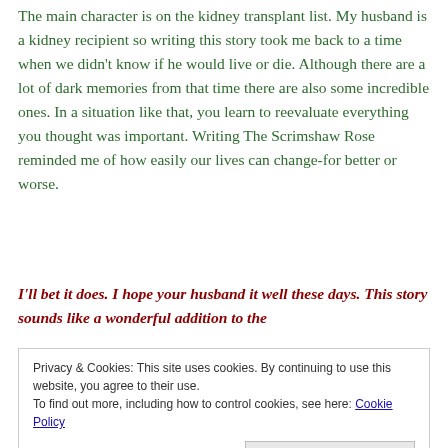The main character is on the kidney transplant list. My husband is a kidney recipient so writing this story took me back to a time when we didn't know if he would live or die. Although there are a lot of dark memories from that time there are also some incredible ones. In a situation like that, you learn to reevaluate everything you thought was important. Writing The Scrimshaw Rose reminded me of how easily our lives can change-for better or worse.
I'll bet it does. I hope your husband it well these days. This story sounds like a wonderful addition to the
Privacy & Cookies: This site uses cookies. By continuing to use this website, you agree to their use. To find out more, including how to control cookies, see here: Cookie Policy
#2 What emotional reaction are you going for when